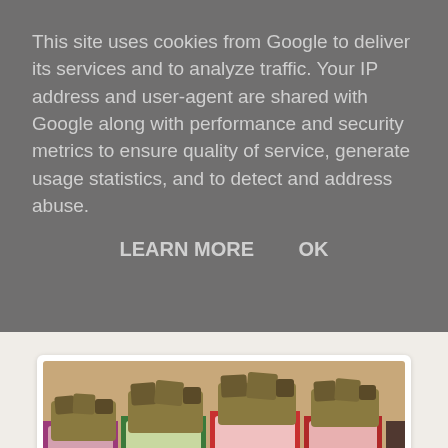This site uses cookies from Google to deliver its services and to analyze traffic. Your IP address and user-agent are shared with Google along with performance and security metrics to ensure quality of service, generate usage statistics, and to detect and address abuse.
LEARN MORE    OK
[Figure (photo): Boxes of nakd branded snack bars displayed on a wooden shelf. Multiple flavours shown in pink, green, and red boxes with bar pieces visible on top.]
And they had new flavours, christmas pud and bakewell tart. Both amazing and they had a great offer on. 18 bars for £8. 18!!!!!!! They're normally about £4 for 5 so I obviously got 18 bars.
[Figure (photo): Nakd brand snack bar packages showing multiple flavours including bar & custard and other varieties in pink, green, and red packaging.]